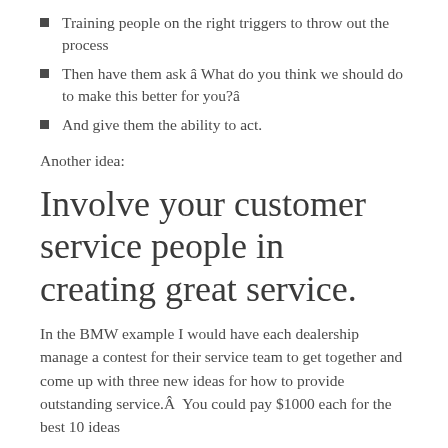Training people on the right triggers to throw out the process
Then have them ask âWhat do you think we should do to make this better for you?â
And give them the ability to act.
Another idea:
Involve your customer service people in creating great service.
In the BMW example I would have each dealership manage a contest for their service team to get together and come up with three new ideas for how to provide outstanding service.Â  You could pay $1000 each for the best 10 ideas